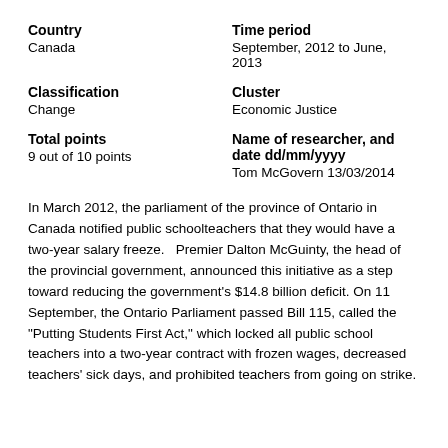Country
Canada
Time period
September, 2012 to June, 2013
Classification
Change
Cluster
Economic Justice
Total points
9 out of 10 points
Name of researcher, and date dd/mm/yyyy
Tom McGovern 13/03/2014
In March 2012, the parliament of the province of Ontario in Canada notified public schoolteachers that they would have a two-year salary freeze.   Premier Dalton McGuinty, the head of the provincial government, announced this initiative as a step toward reducing the government’s $14.8 billion deficit. On 11 September, the Ontario Parliament passed Bill 115, called the “Putting Students First Act,” which locked all public school teachers into a two-year contract with frozen wages, decreased teachers’ sick days, and prohibited teachers from going on strike.